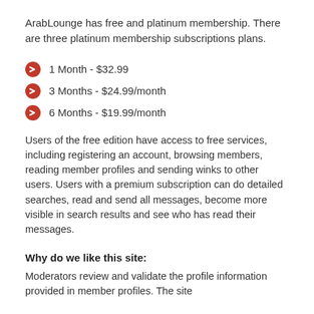ArabLounge has free and platinum membership. There are three platinum membership subscriptions plans.
1 Month - $32.99
3 Months - $24.99/month
6 Months - $19.99/month
Users of the free edition have access to free services, including registering an account, browsing members, reading member profiles and sending winks to other users. Users with a premium subscription can do detailed searches, read and send all messages, become more visible in search results and see who has read their messages.
Why do we like this site:
Moderators review and validate the profile information provided in member profiles. The site